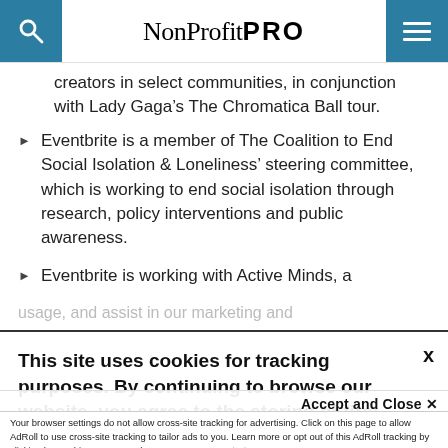NonProfit PRO
creators in select communities, in conjunction with Lady Gaga's The Chromatica Ball tour.
Eventbrite is a member of The Coalition to End Social Isolation & Loneliness' steering committee, which is working to end social isolation through research, policy interventions and public awareness.
Eventbrite is working with Active Minds, a
This site uses cookies for tracking purposes. By continuing to browse our website, you agree to the storing of first- and third-party cookies on your device to enhance site navigation, analyze site
usage, and assist in our marketing and
Accept and Close ✕
Your browser settings do not allow cross-site tracking for advertising. Click on this page to allow AdRoll to use cross-site tracking to tailor ads to you. Learn more or opt out of this AdRoll tracking by clicking here. This message only appears once.